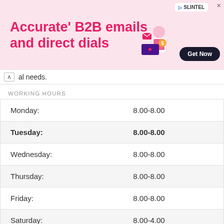[Figure (illustration): Advertisement banner with pink background showing 'Accurate' B2B emails and direct dials' text with Slintel branding and 'Get Now' button]
al needs.
WORKING HOURS
| Monday: | 8.00-8.00 |
| Tuesday: | 8.00-8.00 |
| Wednesday: | 8.00-8.00 |
| Thursday: | 8.00-8.00 |
| Friday: | 8.00-8.00 |
| Saturday: | 8.00-4.00 |
| Sunday: | 8.00-8.00 |